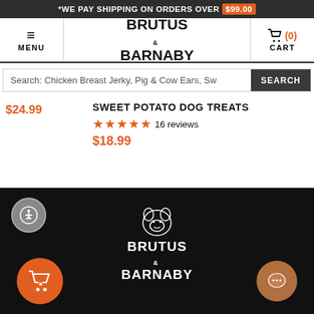*WE PAY SHIPPING ON ORDERS OVER $99.00
[Figure (logo): Brutus & Barnaby navigation bar with hamburger menu, brand logo, and cart icon showing (0)]
Search: Chicken Breast Jerky, Pig & Cow Ears, Sw
$24.99
SWEET POTATO DOG TREATS
★★★★★ 16 reviews
$18.99
[Figure (logo): Brutus & Barnaby footer with logo, accessibility icon, shopping cart FAB, and chat bubble FAB]